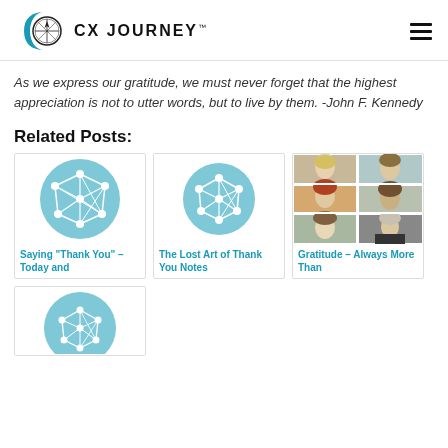CX JOURNEY
As we express our gratitude, we must never forget that the highest appreciation is not to utter words, but to live by them. -John F. Kennedy
Related Posts:
[Figure (illustration): CX Journey default post thumbnail — teal circle with white network/web graphic]
Saying "Thank You" – Today and
[Figure (illustration): CX Journey default post thumbnail — teal circle with white network/web graphic]
The Lost Art of Thank You Notes
[Figure (photo): Grid of six portrait photos of women]
Gratitude – Always More Than
[Figure (illustration): CX Journey default post thumbnail — teal circle with white network/web graphic (partial, bottom row)]